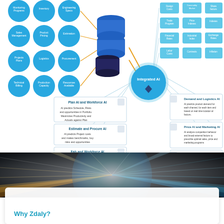[Figure (infographic): Integrated AI architecture diagram showing input data circles on left (Monitoring Programs, Inventory, Engineering Specs, Sales Management, Product Pricing, Estimation, Projects Plans, Logistics, Procurement, Technical Billing, Production Capacity, Resources Available), database stack in center-left, Integrated AI hub in center with connections to right-side modules (Design Costs, Commodity Market, Share factors, Trade Program, Price Indexes, Indexes, Financial Rates, Industrial Index, Exchange Rates, Labor Costs, Contracts, Inflation) and six AI capability boxes: Plan AI and Workforce AI, Demand and Logistics AI, Estimate and Procure AI, Price AI and Marketing AI, Fab and Workforce AI, Site Performance AI]
[Figure (photo): Speed motion blur photo of road with light streaks, teal and orange tones, tunnel/highway perspective]
Why Zdaly?